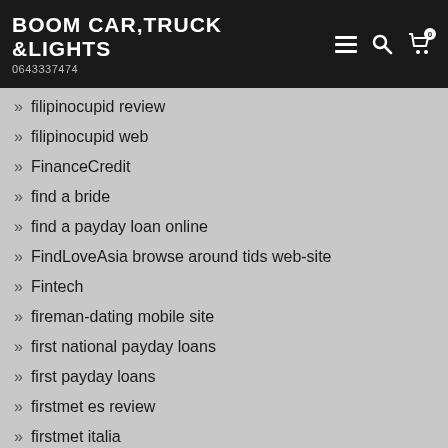BOOM CAR,TRUCK &LIGHTS 0643337474
filipinocupid review
filipinocupid web
FinanceCredit
find a bride
find a payday loan online
FindLoveAsia browse around tids web-site
Fintech
fireman-dating mobile site
first national payday loans
first payday loans
firstmet es review
firstmet italia